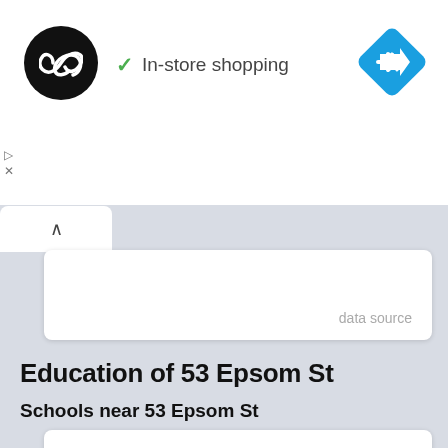[Figure (logo): Black circular logo with white infinity/loop symbol]
✓ In-store shopping
[Figure (logo): Blue diamond navigation arrow icon]
data source
Education of 53 Epsom St
Schools near 53 Epsom St
Ten out of 48 schools near 53 Epsom St are displayed. Click the button below for additional information and a map view.